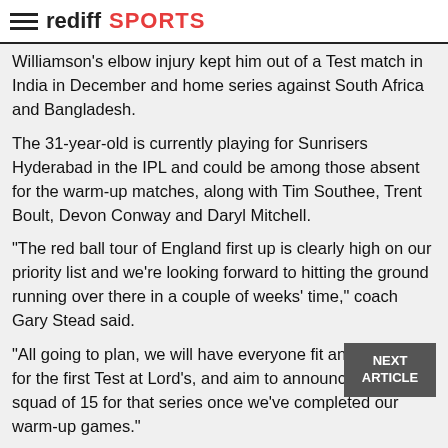rediff SPORTS
Williamson's elbow injury kept him out of a Test match in India in December and home series against South Africa and Bangladesh.
The 31-year-old is currently playing for Sunrisers Hyderabad in the IPL and could be among those absent for the warm-up matches, along with Tim Southee, Trent Boult, Devon Conway and Daryl Mitchell.
"The red ball tour of England first up is clearly high on our priority list and we're looking forward to hitting the ground running over there in a couple of weeks' time," coach Gary Stead said.
"All going to plan, we will have everyone fit and available for the first Test at Lord's, and aim to announce our final squad of 15 for that series once we've completed our warm-up games."
Left-arm spinner Ajaz Patel returns to the squad, having not played since taking all 10 wickets in an innings against India.